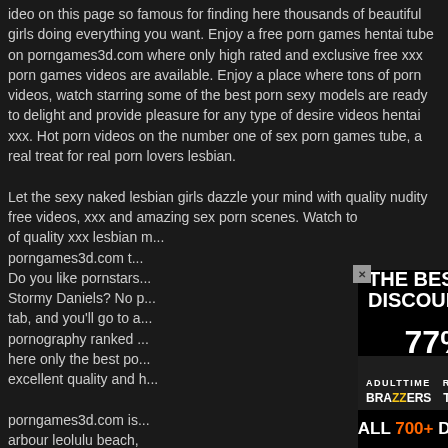ideo on this page so famous for finding here thousands of beautiful girls doing everything you want. Enjoy a free porn games hentai tube on porngames3d.com where only high rated and exclusive free xxx porn games videos are available. Enjoy a place where tons of porn videos, watch starring some of the best porn sexy models are ready to delight and provide pleasure for any type of desire videos hentai xxx. Hot porn videos on the number one of sex porn games tube, a real treat for real porn lovers lesbian.

Let the sexy naked lesbian girls dazzle your mind with quality nudity free videos, xxx and amazing sex porn scenes. Watch to of quality xxx lesbian m... porngames3d.com t... Do you like pornstars... Stormy Daniels? No p... tab, and you'll go to a... pornography ranked ... here only the best po... excellent quality and h...

porngames3d.com is... arbour leolulu beach,
[Figure (other): Advertisement overlay: 'THE BEST SITES DISCOUNTED UP TO 77% OFF' with adult content site logos (ADULTTIME, REALITYKINGS, BRAZZERS, TEAMSKEET, PornPros, BANG!) and a photo of a woman, plus 'Discounted porn' footer and 'VIEW ALL 700+ DEALS' banner.]